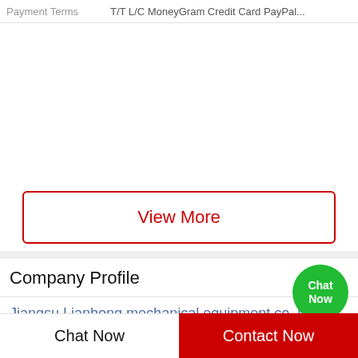| Payment Terms |  |
| --- | --- |
| Payment Terms | T/T L/C MoneyGram Credit Card PayPal... |
View More
Company Profile
Jiangsu Lianhong mechanical equipment co.,ltd.
| Business Type |  |
| --- | --- |
| Business Type | Manufacturer |
Chat Now
Contact Now